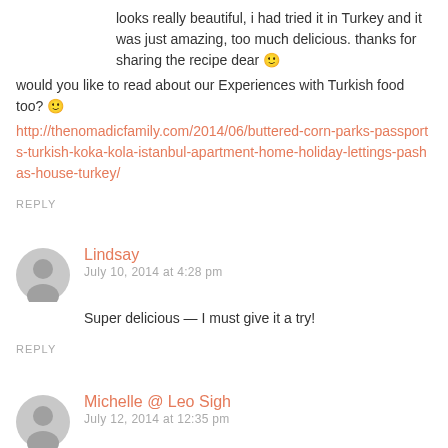looks really beautiful, i had tried it in Turkey and it was just amazing, too much delicious. thanks for sharing the recipe dear 🙂 would you like to read about our Experiences with Turkish food too? 🙂
http://thenomadicfamily.com/2014/06/buttered-corn-parks-passports-turkish-koka-kola-istanbul-apartment-home-holiday-lettings-pashas-house-turkey/
REPLY
Lindsay
July 10, 2014 at 4:28 pm
Super delicious — I must give it a try!
REPLY
Michelle @ Leo Sigh
July 12, 2014 at 12:35 pm
Never heard of pomegranate molasses but love